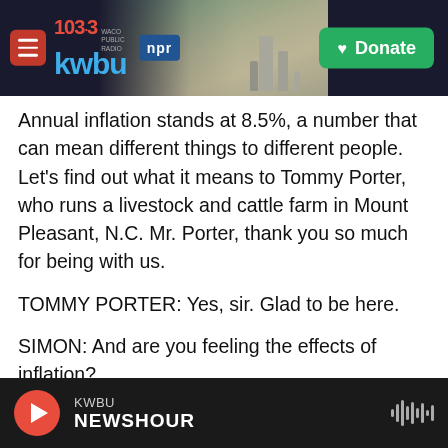103.3 KWBU WACO PUBLIC RADIO | npr | Donate
Annual inflation stands at 8.5%, a number that can mean different things to different people. Let's find out what it means to Tommy Porter, who runs a livestock and cattle farm in Mount Pleasant, N.C. Mr. Porter, thank you so much for being with us.
TOMMY PORTER: Yes, sir. Glad to be here.
SIMON: And are you feeling the effects of inflation?
PORTER: Yes, sir, very much so. Our operation - I would call it a very diversified farm. As far as livestock, we have pigs, we have cattle, we have poultry, and we have greenhouses. We also do
KWBU NEWSHOUR